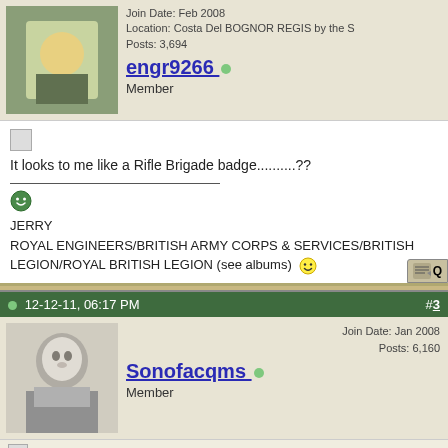[Figure (screenshot): Forum post from user engr9266, Member. Join Date: Feb 2008, Location: Costa Del BOGNOR REGIS by the S, Posts: 3,694. Post content: 'It looks to me like a Rifle Brigade badge..........??' followed by signature with JERRY, ROYAL ENGINEERS/BRITISH ARMY CORPS & SERVICES/BRITISH LEGION/ROYAL BRITISH LEGION (see albums)]
[Figure (screenshot): Forum post #3 dated 12-12-11, 06:17 PM from user Sonofacqms, Member. Join Date: Jan 2008, Posts: 6,160. Post title: Signals unit. Post content beginning: 'It could be 6th London which were transferred to the Royal...']